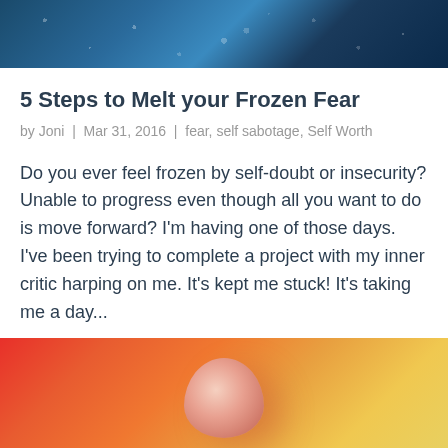[Figure (photo): Top portion of a blue icy/snowy abstract background image with white particles/snowflakes]
5 Steps to Melt your Frozen Fear
by Joni | Mar 31, 2016 | fear, self sabotage, Self Worth
Do you ever feel frozen by self-doubt or insecurity? Unable to progress even though all you want to do is move forward? I'm having one of those days. I've been trying to complete a project with my inner critic harping on me. It's kept me stuck! It's taking me a day...
[Figure (photo): Bottom portion of a colorful orange, red, and yellow flower close-up image]